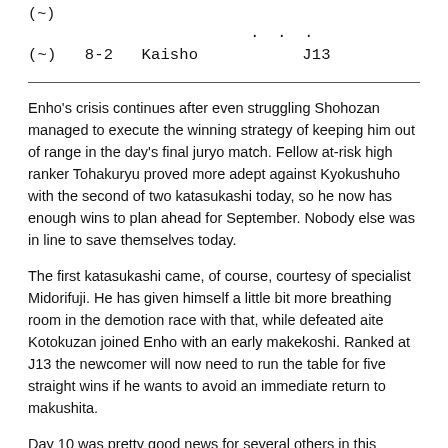(~)
...
(~)  8-2  Kaisho          J13
Enho's crisis continues after even struggling Shohozan managed to execute the winning strategy of keeping him out of range in the day's final juryo match. Fellow at-risk high ranker Tohakuryu proved more adept against Kyokushuho with the second of two katasukashi today, so he now has enough wins to plan ahead for September. Nobody else was in line to save themselves today.
The first katasukashi came, of course, courtesy of specialist Midorifuji. He has given himself a little bit more breathing room in the demotion race with that, while defeated aite Kotokuzan joined Enho with an early makekoshi. Ranked at J13 the newcomer will now need to run the table for five straight wins if he wants to avoid an immediate return to makushita.
Day 10 was pretty good news for several others in this section, however, with shiroboshi for Daishomaru, Nishikifuji, Oho, Daishoho, and - with arguably his best sumo of the basho - Yago. Only Daishomaru had to